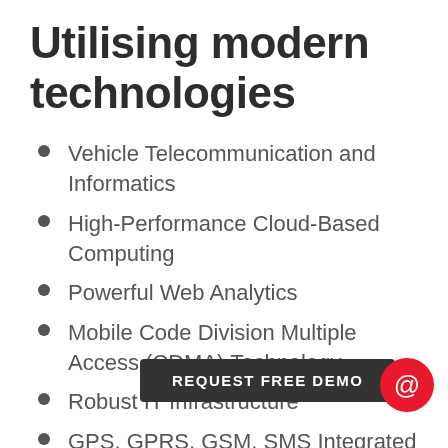Utilising modern technologies
Vehicle Telecommunication and Informatics
High-Performance Cloud-Based Computing
Powerful Web Analytics
Mobile Code Division Multiple Access (CDMA) Technology
Robust IT Infrastructure
GPS, GPRS, GSM, SMS Integrated